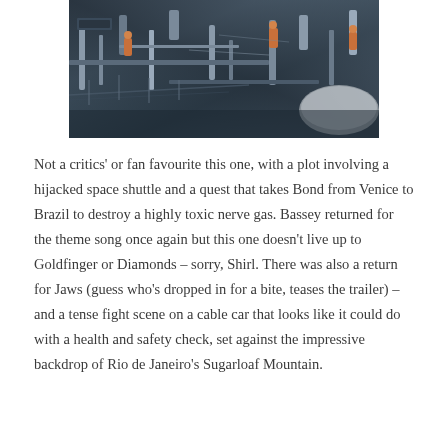[Figure (photo): A large-scale movie set from a James Bond film, showing a space shuttle or rocket facility interior with industrial equipment, pipes, machinery, and figures in orange jumpsuits visible among the elaborate set dressing.]
Not a critics' or fan favourite this one, with a plot involving a hijacked space shuttle and a quest that takes Bond from Venice to Brazil to destroy a highly toxic nerve gas. Bassey returned for the theme song once again but this one doesn't live up to Goldfinger or Diamonds – sorry, Shirl. There was also a return for Jaws (guess who's dropped in for a bite, teases the trailer) – and a tense fight scene on a cable car that looks like it could do with a health and safety check, set against the impressive backdrop of Rio de Janeiro's Sugarloaf Mountain.